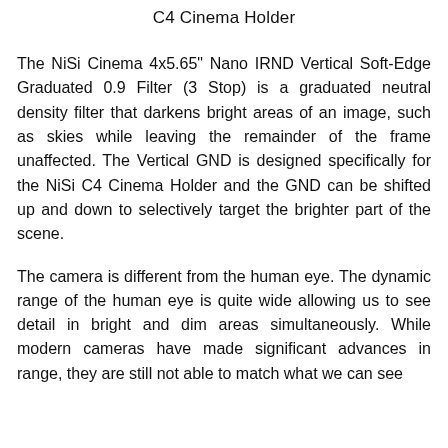C4 Cinema Holder
The NiSi Cinema 4x5.65" Nano IRND Vertical Soft-Edge Graduated 0.9 Filter (3 Stop) is a graduated neutral density filter that darkens bright areas of an image, such as skies while leaving the remainder of the frame unaffected. The Vertical GND is designed specifically for the NiSi C4 Cinema Holder and the GND can be shifted up and down to selectively target the brighter part of the scene.
The camera is different from the human eye. The dynamic range of the human eye is quite wide allowing us to see detail in bright and dim areas simultaneously. While modern cameras have made significant advances in range, they are still not able to match what we can see